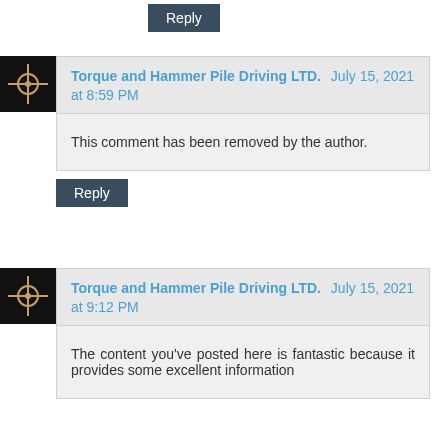Reply
[Figure (illustration): Avatar icon: black square with crosshair/compass symbol]
Torque and Hammer Pile Driving LTD.  July 15, 2021 at 8:59 PM
This comment has been removed by the author.
Reply
[Figure (illustration): Avatar icon: black square with crosshair/compass symbol]
Torque and Hammer Pile Driving LTD.  July 15, 2021 at 9:12 PM
The content you've posted here is fantastic because it provides some excellent information